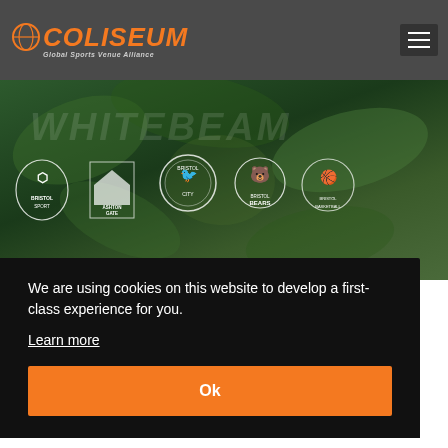[Figure (logo): Coliseum Global Sports Venue Alliance logo — orange stylized text 'COLISEUM' with globe graphic, subtitle 'Global Sports Venue Alliance']
[Figure (photo): Hero banner image showing green leaves background with white logos of Bristol Sport, Ashton Gate, Bristol City, Bristol Bears, and Bristol Basketball arranged in a row. Faint large text overlay in background.]
Bristol Sport launches Project Whitebeam
We are using cookies on this website to develop a first-class experience for you.
Learn more
Ok